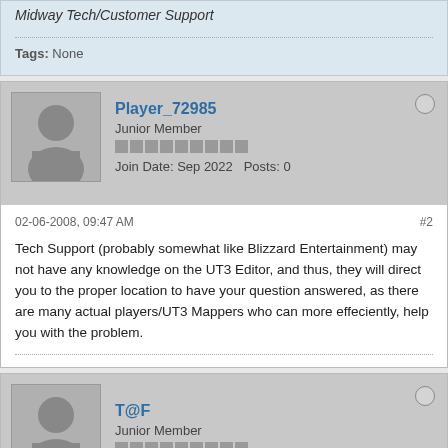Midway Tech/Customer Support
Tags: None
Player_72985
Junior Member
Join Date: Sep 2022   Posts: 0
02-06-2008, 09:47 AM
#2
Tech Support (probably somewhat like Blizzard Entertainment) may not have any knowledge on the UT3 Editor, and thus, they will direct you to the proper location to have your question answered, as there are many actual players/UT3 Mappers who can more effeciently, help you with the problem.
T@F
Junior Member